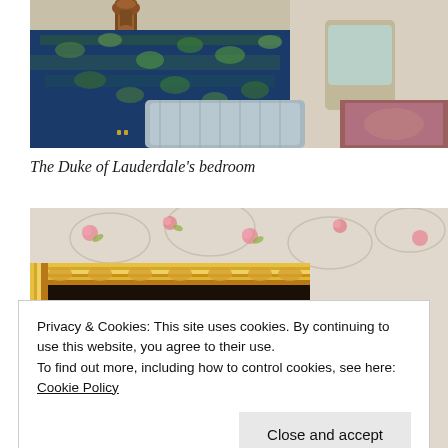[Figure (photo): Photo of the Duke of Lauderdale's bedroom showing an ornate wooden bed frame with blue and green floral brocade fabric draped over it, a silver/grey quilted pillow, and a patterned rug visible in the background.]
The Duke of Lauderdale's bedroom
[Figure (photo): Photo showing a large ornate gold-framed painting or mirror on a wall with floral wallpaper featuring pink roses. The bottom of the frame is visible with a dark interior.]
Privacy & Cookies: This site uses cookies. By continuing to use this website, you agree to their use.
To find out more, including how to control cookies, see here: Cookie Policy
Close and accept